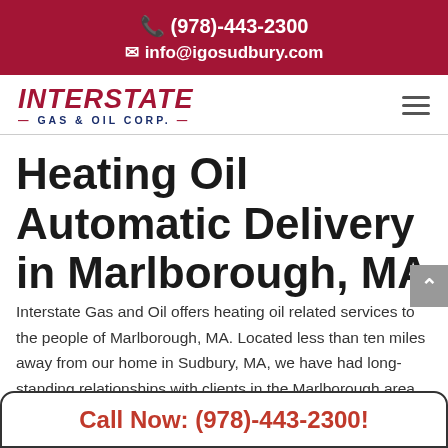(978)-443-2300
info@igosudbury.com
[Figure (logo): Interstate Gas & Oil Corp logo with red italic INTERSTATE text and blue GAS & OIL CORP subtext]
Heating Oil Automatic Delivery in Marlborough, MA
Interstate Gas and Oil offers heating oil related services to the people of Marlborough, MA. Located less than ten miles away from our home in Sudbury, MA, we have had long-standing relationships with clients in the Marlborough area
Call Now: (978)-443-2300!